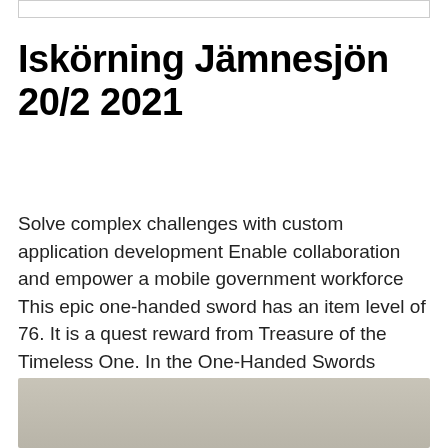Iskörning Jämnesjön 20/2 2021
Solve complex challenges with custom application development Enable collaboration and empower a mobile government workforce This epic one-handed sword has an item level of 76. It is a quest reward from Treasure of the Timeless One. In the One-Handed Swords category. Shop for star wars snow sled online at Target.
[Figure (photo): Partial image, bottom of page, gray/beige background, details not visible]